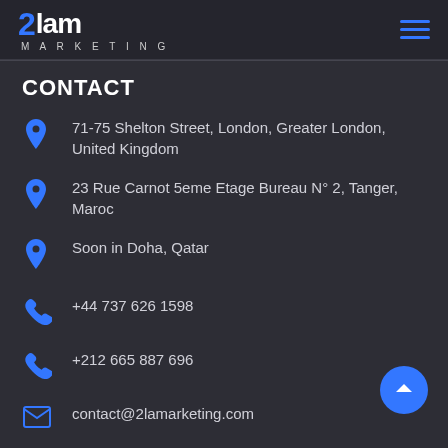2Lam Marketing
CONTACT
71-75 Shelton Street, London, Greater London, United Kingdom
23 Rue Carnot 5eme Etage Bureau N° 2, Tanger, Maroc
Soon in Doha, Qatar
+44 737 626 1598
+212 665 887 696
contact@2lamarketing.com